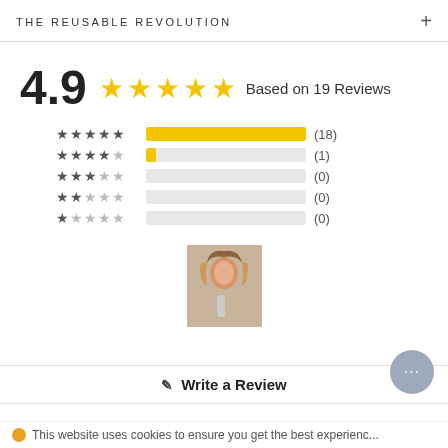THE REUSABLE REVOLUTION
4.9   Based on 19 Reviews
[Figure (bar-chart): Rating breakdown]
[Figure (photo): Photo of a person with long hair holding a product]
Write a Review
This website uses cookies to ensure you get the best experience